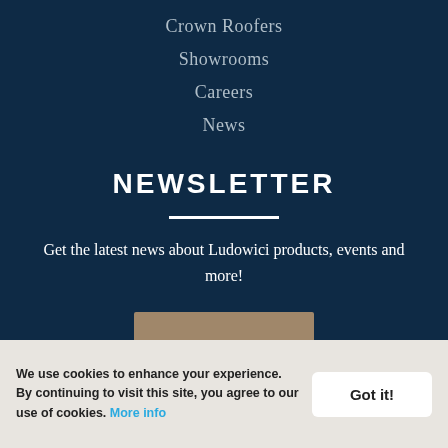Crown Roofers
Showrooms
Careers
News
NEWSLETTER
Get the latest news about Ludowici products, events and more!
We use cookies to enhance your experience. By continuing to visit this site, you agree to our use of cookies. More info